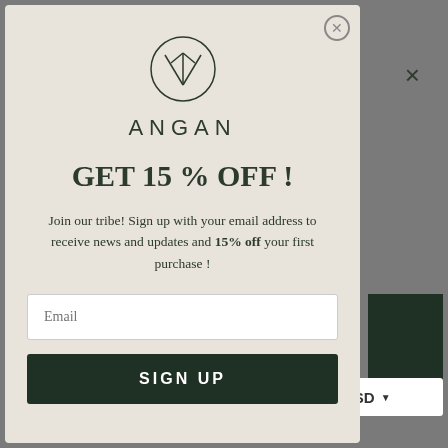[Figure (logo): Angan brand logo: a circle containing an abstract tree/arrow symbol above the text ANGAN in spaced capitals]
GET 15 % OFF !
Join our tribe! Sign up with your email address to receive news and updates and 15% off your first purchase !